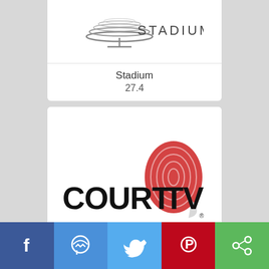[Figure (logo): Stadium TV channel logo - partial view at top]
Stadium
27.4
[Figure (logo): Court TV logo with red fingerprint graphic and bold black text]
Court TV
27.5
[Figure (infographic): Social sharing bar with Facebook, Messenger, Twitter, Pinterest, and Share buttons]